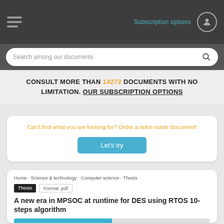Subscription options
Search among our documents
CONSULT MORE THAN 14272 DOCUMENTS WITH NO LIMITATION. OUR SUBSCRIPTION OPTIONS
Can't find what you are looking for? Order a tailor-made document!
Let's try
Home  Science & technology  Computer science  Thesis
Thesis  Format .pdf
A new era in MPSOC at runtime for DES using RTOS 10- steps algorithm
Download  Read an extract